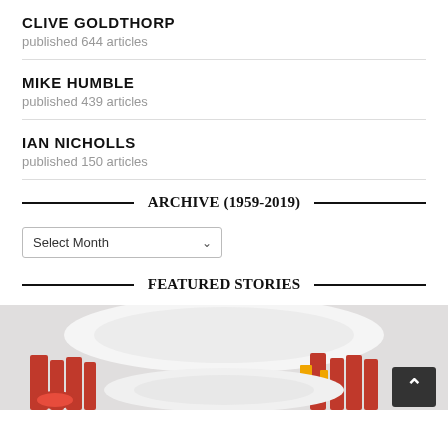CLIVE GOLDTHORP
published 644 articles
MIKE HUMBLE
published 439 articles
IAN NICHOLLS
published 150 articles
ARCHIVE (1959-2019)
Select Month
FEATURED STORIES
[Figure (photo): Featured story image showing decorative red fringe/trim and white ceramic dish elements]